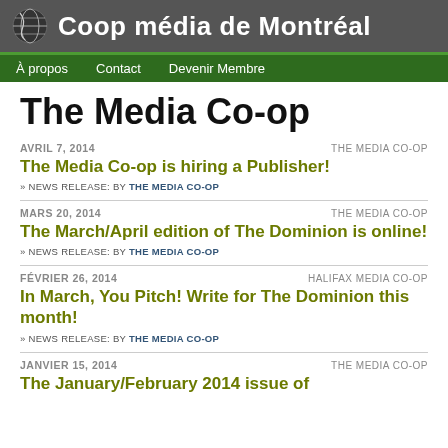Coop média de Montréal
The Media Co-op
AVRIL 7, 2014 | THE MEDIA CO-OP
The Media Co-op is hiring a Publisher!
» NEWS RELEASE: BY THE MEDIA CO-OP
MARS 20, 2014 | THE MEDIA CO-OP
The March/April edition of The Dominion is online!
» NEWS RELEASE: BY THE MEDIA CO-OP
FÉVRIER 26, 2014 | HALIFAX MEDIA CO-OP
In March, You Pitch! Write for The Dominion this month!
» NEWS RELEASE: BY THE MEDIA CO-OP
JANVIER 15, 2014 | THE MEDIA CO-OP
The January/February 2014 issue of...